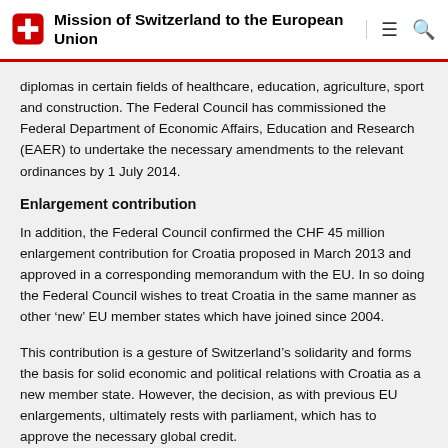Mission of Switzerland to the European Union
diplomas in certain fields of healthcare, education, agriculture, sport and construction. The Federal Council has commissioned the Federal Department of Economic Affairs, Education and Research (EAER) to undertake the necessary amendments to the relevant ordinances by 1 July 2014.
Enlargement contribution
In addition, the Federal Council confirmed the CHF 45 million enlargement contribution for Croatia proposed in March 2013 and approved in a corresponding memorandum with the EU. In so doing the Federal Council wishes to treat Croatia in the same manner as other ‘new’ EU member states which have joined since 2004.
This contribution is a gesture of Switzerland’s solidarity and forms the basis for solid economic and political relations with Croatia as a new member state. However, the decision, as with previous EU enlargements, ultimately rests with parliament, which has to approve the necessary global credit.